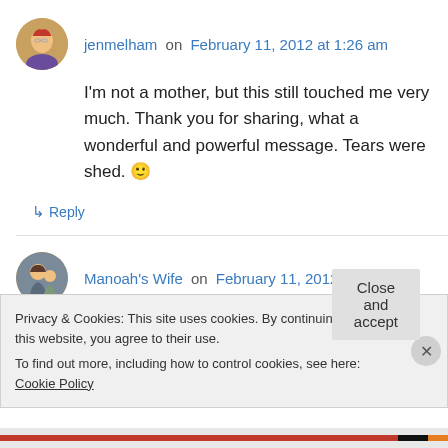jenmelham on February 11, 2012 at 1:26 am
I'm not a mother, but this still touched me very much. Thank you for sharing, what a wonderful and powerful message. Tears were shed. 🙂
↳ Reply
Manoah's Wife on February 11, 2012 at 5:41 am
My daughter found your blog and forwarded me
Privacy & Cookies: This site uses cookies. By continuing to use this website, you agree to their use.
To find out more, including how to control cookies, see here: Cookie Policy
Close and accept